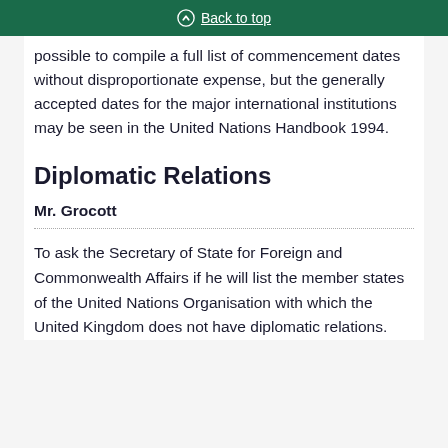Back to top
possible to compile a full list of commencement dates without disproportionate expense, but the generally accepted dates for the major international institutions may be seen in the United Nations Handbook 1994.
Diplomatic Relations
Mr. Grocott
To ask the Secretary of State for Foreign and Commonwealth Affairs if he will list the member states of the United Nations Organisation with which the United Kingdom does not have diplomatic relations.